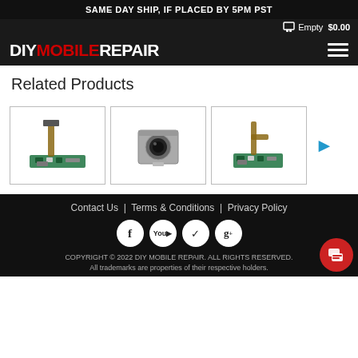SAME DAY SHIP, IF PLACED BY 5PM PST
Empty $0.00
DIYMOBILEREPAIR
Related Products
[Figure (photo): Three mobile phone repair parts (flex cables and camera module) shown in product cards with a right arrow for carousel navigation]
Contact Us | Terms & Conditions | Privacy Policy
Social media icons: Facebook, YouTube, Twitter, Google+
COPYRIGHT © 2022 DIY MOBILE REPAIR. ALL RIGHTS RESERVED. All trademarks are properties of their respective holders.